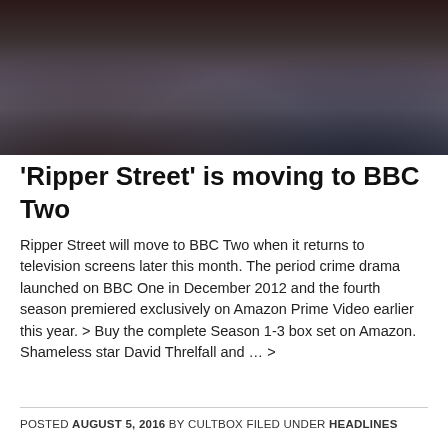[Figure (photo): Three men dressed in period Victorian-era suits and coats standing in front of a brick wall, from the TV show Ripper Street]
'Ripper Street' is moving to BBC Two
Ripper Street will move to BBC Two when it returns to television screens later this month. The period crime drama launched on BBC One in December 2012 and the fourth season premiered exclusively on Amazon Prime Video earlier this year. > Buy the complete Season 1-3 box set on Amazon. Shameless star David Threlfall and … >
POSTED AUGUST 5, 2016 BY CULTBOX FILED UNDER HEADLINES